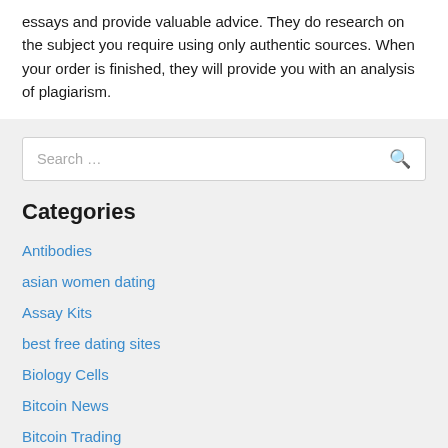essays and provide valuable advice. They do research on the subject you require using only authentic sources. When your order is finished, they will provide you with an analysis of plagiarism.
Search …
Categories
Antibodies
asian women dating
Assay Kits
best free dating sites
Biology Cells
Bitcoin News
Bitcoin Trading